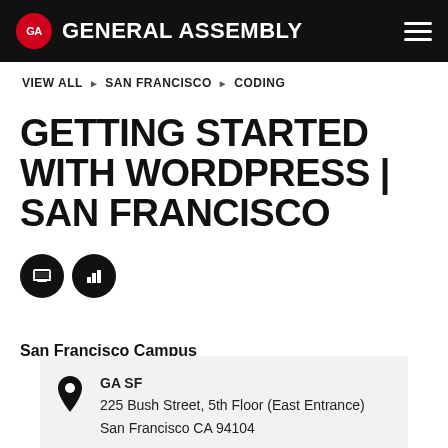GA GENERAL ASSEMBLY
VIEW ALL ▶ SAN FRANCISCO ▶ CODING
GETTING STARTED WITH WORDPRESS | SAN FRANCISCO
[Figure (illustration): Two circular black icons: a laptop icon and a bar chart icon]
San Francisco Campus
GA SF
225 Bush Street, 5th Floor (East Entrance)
San Francisco CA 94104